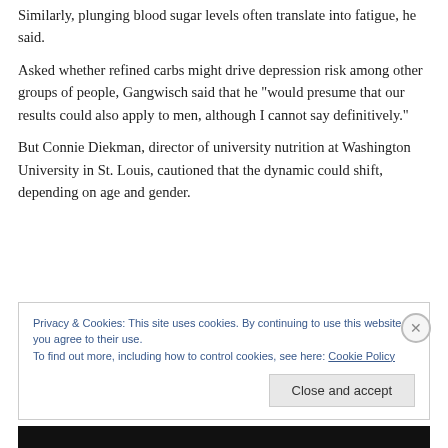Similarly, plunging blood sugar levels often translate into fatigue, he said.
Asked whether refined carbs might drive depression risk among other groups of people, Gangwisch said that he “would presume that our results could also apply to men, although I cannot say definitively.”
But Connie Diekman, director of university nutrition at Washington University in St. Louis, cautioned that the dynamic could shift, depending on age and gender.
Privacy & Cookies: This site uses cookies. By continuing to use this website, you agree to their use.
To find out more, including how to control cookies, see here: Cookie Policy